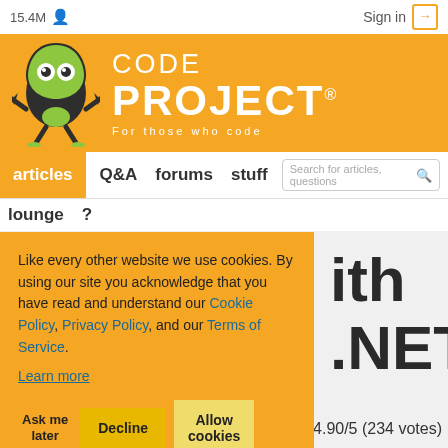15.4M
Sign in
[Figure (logo): CodeProject logo with green alien mascot and text CODE PROJECT For those who code on orange background]
articles Q&A forums stuff lounge ?
Like every other website we use cookies. By using our site you acknowledge that you have read and understand our Cookie Policy, Privacy Policy, and our Terms of Service. Learn more
Ask me later  Decline  Allow cookies
ith .NET
4.90/5 (234 votes)